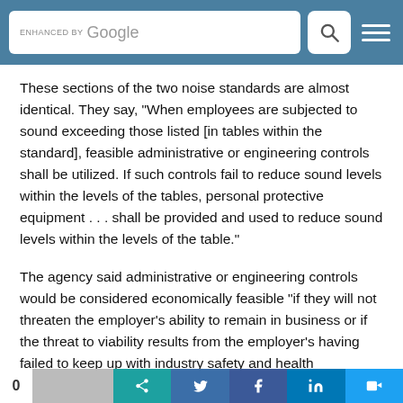[Figure (screenshot): Website header bar with teal/blue background containing a Google search box labeled 'ENHANCED BY Google', a search icon button, and a hamburger menu icon on the right.]
These sections of the two noise standards are almost identical. They say, "When employees are subjected to sound exceeding those listed [in tables within the standard], feasible administrative or engineering controls shall be utilized. If such controls fail to reduce sound levels within the levels of the tables, personal protective equipment . . . shall be provided and used to reduce sound levels within the levels of the table."
The agency said administrative or engineering controls would be considered economically feasible "if they will not threaten the employer's ability to remain in business or if the threat to viability results from the employer's having failed to keep up with industry safety and health standards."
Lessons from the Past
[Figure (screenshot): Bottom social sharing bar with share count and buttons for various social media platforms including teal, blue, Facebook, LinkedIn, and Twitter.]